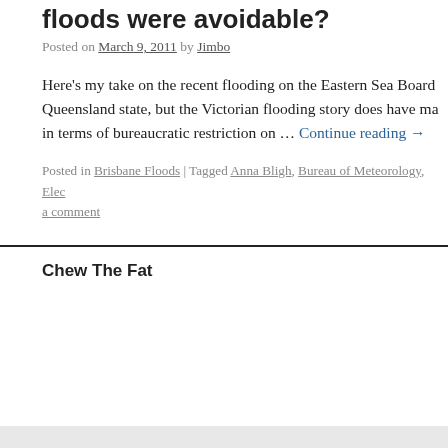floods were avoidable?
Posted on March 9, 2011 by Jimbo
Here's my take on the recent flooding on the Eastern Sea Board Queensland state, but the Victorian flooding story does have ma in terms of bureaucratic restriction on … Continue reading →
Posted in Brisbane Floods | Tagged Anna Bligh, Bureau of Meteorology, Elec a comment
Chew The Fat